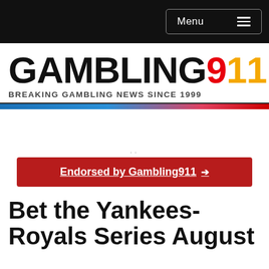Menu
[Figure (logo): Gambling911 logo with tagline BREAKING GAMBLING NEWS SINCE 1999]
Endorsed by Gambling911
Bet the Yankees-Royals Series August